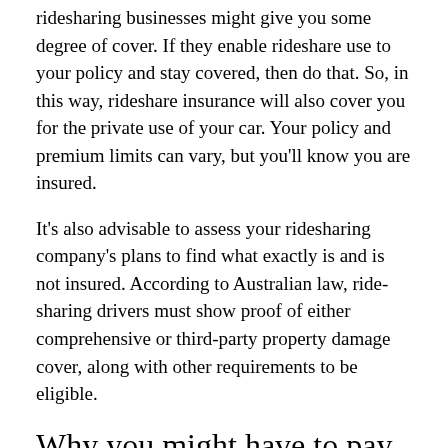ridesharing businesses might give you some degree of cover. If they enable rideshare use to your policy and stay covered, then do that. So, in this way, rideshare insurance will also cover you for the private use of your car. Your policy and premium limits can vary, but you'll know you are insured.
It's also advisable to assess your ridesharing company's plans to find what exactly is and is not insured. According to Australian law, ride-sharing drivers must show proof of either comprehensive or third-party property damage cover, along with other requirements to be eligible.
Why you might have to pay more?
Ever thought about why your car insurance costs more than that of your parents'? Insurers see young drivers as there is a larger likelihood of being involved in an accident than older drivers due to less experience and taking bigger risks when driving.